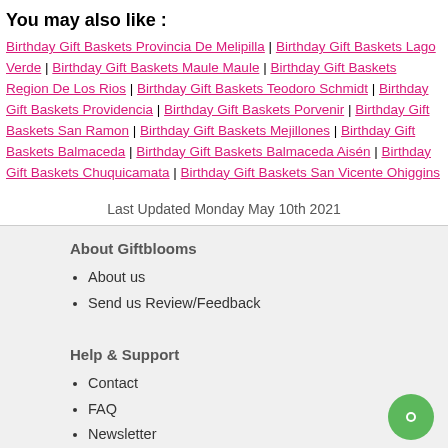You may also like :
Birthday Gift Baskets Provincia De Melipilla | Birthday Gift Baskets Lago Verde | Birthday Gift Baskets Maule Maule | Birthday Gift Baskets Region De Los Rios | Birthday Gift Baskets Teodoro Schmidt | Birthday Gift Baskets Providencia | Birthday Gift Baskets Porvenir | Birthday Gift Baskets San Ramon | Birthday Gift Baskets Mejillones | Birthday Gift Baskets Balmaceda | Birthday Gift Baskets Balmaceda Aisén | Birthday Gift Baskets Chuquicamata | Birthday Gift Baskets San Vicente Ohiggins
Last Updated Monday May 10th 2021
About Giftblooms
About us
Send us Review/Feedback
Help & Support
Contact
FAQ
Newsletter
How to Track Order?